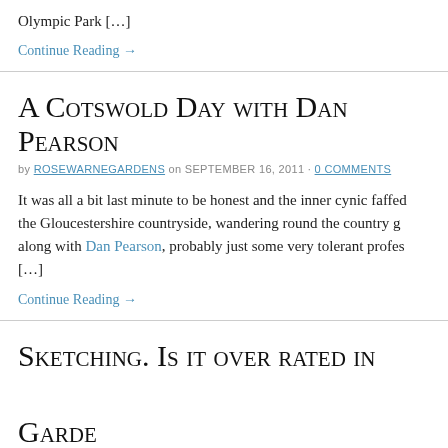Olympic Park […]
Continue Reading →
A Cotswold Day with Dan Pearson
by ROSEWARNEGARDENS on SEPTEMBER 16, 2011 · 0 COMMENTS
It was all a bit last minute to be honest and the inner cynic faffed… the Gloucestershire countryside, wandering round the country g… along with Dan Pearson, probably just some very tolerant profes… […]
Continue Reading →
Sketching. Is it over rated in Garde…
by ROSEWARNEGARDENS on SEPTEMBER 5, 2011 · 0 COMMENTS
I came across this site – http://www.urbansketchers.org/